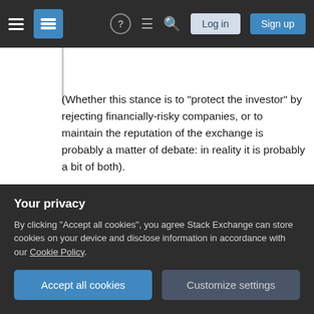Stack Exchange navigation bar with Log in and Sign up buttons
(Whether this stance is to "protect the investor" by rejecting financially-risky companies, or to maintain the reputation of the exchange is probably a matter of debate: in reality it is probably a bit of both).
While the minimum price-per-share is by no means the only criterion for gauging a company's financial health, it is one of the measures that can be used to try and weed-out failing or poorly-performing companies. If a company was originally listed on,
Your privacy
By clicking "Accept all cookies", you agree Stack Exchange can store cookies on your device and disclose information in accordance with our Cookie Policy.
matter: unless something is done to reverse the